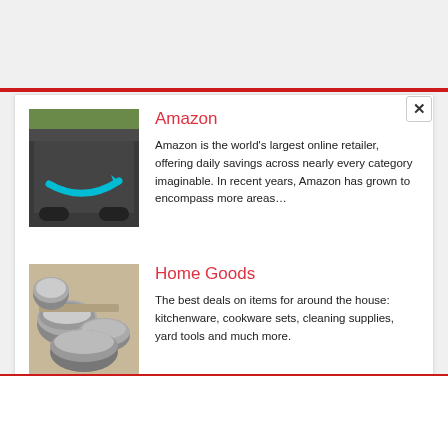[Figure (other): Amazon delivery van with Amazon logo/swoosh visible]
Amazon
Amazon is the world's largest online retailer, offering daily savings across nearly every category imaginable. In recent years, Amazon has grown to encompass more areas…
[Figure (photo): Stainless steel cookware/pots and pans home goods image]
Home Goods
The best deals on items for around the house: kitchenware, cookware sets, cleaning supplies, yard tools and much more.
About the Author